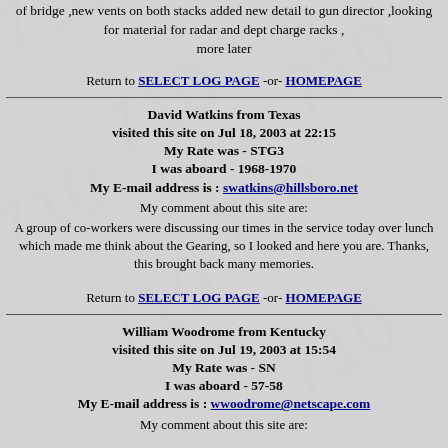of bridge ,new vents on both stacks added new detail to gun director ,looking for material for radar and dept charge racks , more later
Return to SELECT LOG PAGE -or- HOMEPAGE
David Watkins from Texas visited this site on Jul 18, 2003 at 22:15 My Rate was - STG3 I was aboard - 1968-1970 My E-mail address is : swatkins@hillsboro.net My comment about this site are: A group of co-workers were discussing our times in the service today over lunch which made me think about the Gearing, so I looked and here you are. Thanks, this brought back many memories.
Return to SELECT LOG PAGE -or- HOMEPAGE
William Woodrome from Kentucky visited this site on Jul 19, 2003 at 15:54 My Rate was - SN I was aboard - 57-58 My E-mail address is : wwoodrome@netscape.com My comment about this site are: